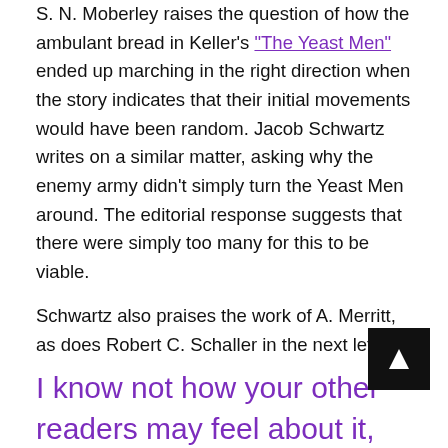S. N. Moberley raises the question of how the ambulant bread in Keller's "The Yeast Men" ended up marching in the right direction when the story indicates that their initial movements would have been random. Jacob Schwartz writes on a similar matter, asking why the enemy army didn't simply turn the Yeast Men around. The editorial response suggests that there were simply too many for this to be viable.
Schwartz also praises the work of A. Merritt, as does Robert C. Schaller in the next letter:
I know not how your other readers may feel about it, but for myself, in vie his lyric and epic masterpiece, The Moon Poo...